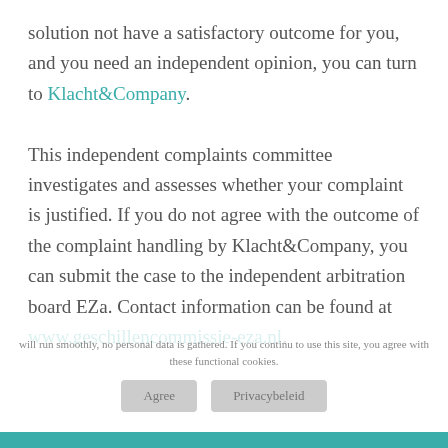solution not have a satisfactory outcome for you, and you need an independent opinion, you can turn to Klacht&Company.

This independent complaints committee investigates and assesses whether your complaint is justified. If you do not agree with the outcome of the complaint handling by Klacht&Company, you can submit the case to the independent arbitration board EZa. Contact information can be found at www.geschillencommissie-eza.nl.
...will run smoothly, no personal data is gathered. If you continu to use this site, you agree with these functional cookies.